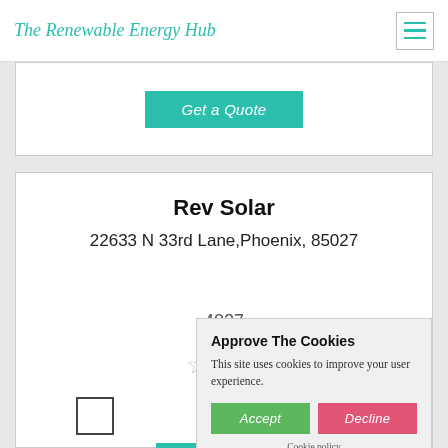The Renewable Energy Hub
Get a Quote
Rev Solar
22633 N 33rd Lane,Phoenix, 85027
4027
Approve The Cookies
This site uses cookies to improve your user experience.
Accept  Decline
Cookie policy